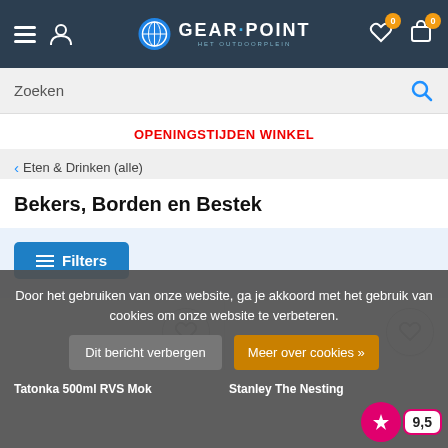[Figure (screenshot): Gear Point webshop header with hamburger menu, user icon, logo, wishlist and cart icons with badges showing 0]
[Figure (screenshot): Search bar with placeholder text 'Zoeken' and blue search icon]
OPENINGSTIJDEN WINKEL
< Eten & Drinken (alle)
Bekers, Borden en Bestek
[Figure (screenshot): Blue Filters button with filter icon]
[Figure (screenshot): Two product card placeholders with heart/wishlist buttons]
Door het gebruiken van onze website, ga je akkoord met het gebruik van cookies om onze website te verbeteren.
Dit bericht verbergen
Meer over cookies »
Tatonka 500ml RVS Mok
Stanley The Nesting